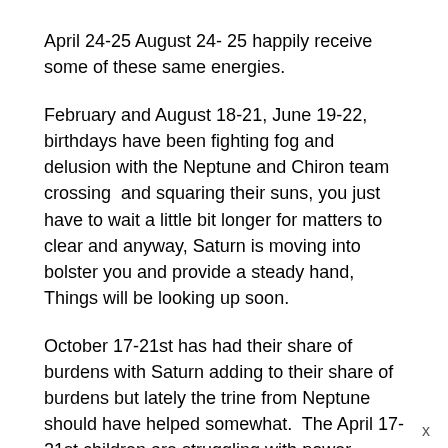April 24-25 August 24- 25 happily receive some of these same energies.
February and August 18-21, June 19-22, birthdays have been fighting fog and delusion with the Neptune and Chiron team crossing  and squaring their suns, you just have to wait a little bit longer for matters to clear and anyway, Saturn is moving into bolster you and provide a steady hand, Things will be looking up soon.
October 17-21st has had their share of burdens with Saturn adding to their share of burdens but lately the trine from Neptune should have helped somewhat.  The April 17-21st children are struggling with power issues where things seem more difficult than need be.  Saturn